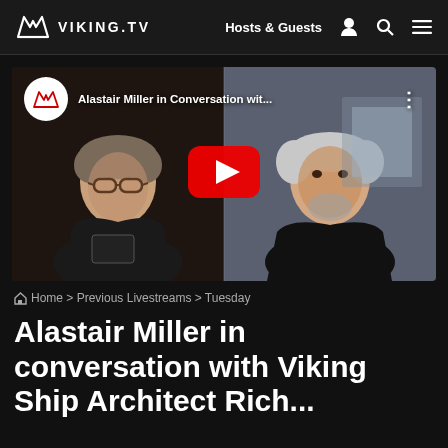VIKING.TV  |  Hosts & Guests
[Figure (screenshot): YouTube video thumbnail showing two men in a video call. Left: man with glasses and dark jacket. Right: older man with white hair smiling. Red YouTube play button in center. Top left shows Viking logo badge and title: 'Alastair Miller in Conversation wit...']
Home > Previous Livestreams > Tuesday
Alastair Miller in conversation with Viking Ship Architect Richard...